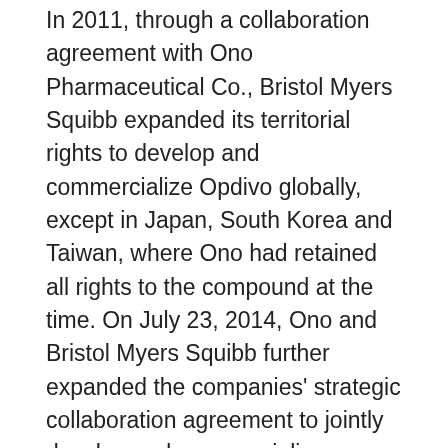In 2011, through a collaboration agreement with Ono Pharmaceutical Co., Bristol Myers Squibb expanded its territorial rights to develop and commercialize Opdivo globally, except in Japan, South Korea and Taiwan, where Ono had retained all rights to the compound at the time. On July 23, 2014, Ono and Bristol Myers Squibb further expanded the companies' strategic collaboration agreement to jointly develop and commercialize multiple immunotherapies – as single agents and combination regimens – for patients with cancer in Japan, South Korea and Taiwan.
About Bristol Myers Squibb
Bristol Myers Squibb is a global biopharmaceutical company whose mission is to discover, develop and deliver innovative medicines that help patients prevail